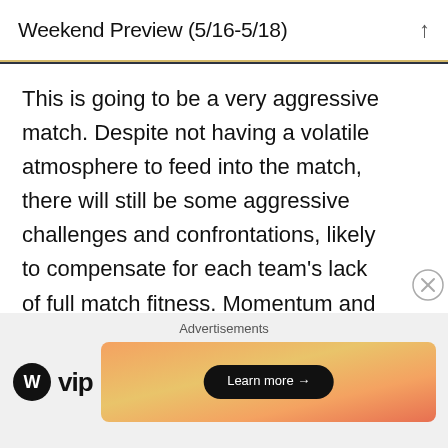Weekend Preview (5/16-5/18)
This is going to be a very aggressive match. Despite not having a volatile atmosphere to feed into the match, there will still be some aggressive challenges and confrontations, likely to compensate for each team's lack of full match fitness. Momentum and adrenaline will likely carry each team through. This match has the potential to be the highest scoring of the day, given Dortmund's defensive frailties and the absence of Zagadou, and Schalke could very well
Advertisements